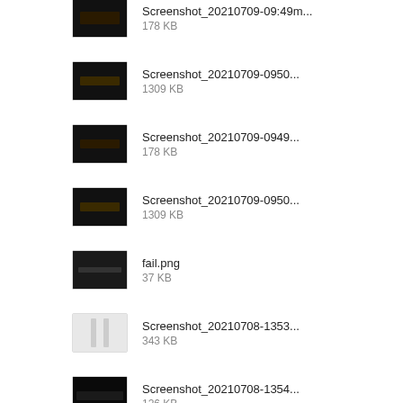Screenshot_20210709-0949...
178 KB
Screenshot_20210709-0950...
1309 KB
Screenshot_20210709-0949...
178 KB
Screenshot_20210709-0950...
1309 KB
fail.png
37 KB
Screenshot_20210708-1353...
343 KB
Screenshot_20210708-1354...
126 KB
Screenshot_20210708-1353...
343 KB